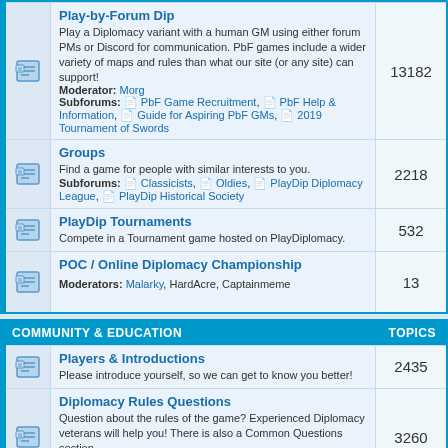Play-by-Forum Dip
Play a Diplomacy variant with a human GM using either forum PMs or Discord for communication. PbF games include a wider variety of maps and rules than what our site (or any site) can support! Moderator: Morg Subforums: PbF Game Recruitment, PbF Help & Information, Guide for Aspiring PbF GMs, 2019 Tournament of Swords
13182
Groups
Find a game for people with similar interests to you. Subforums: Classicists, Oldies, PlayDip Diplomacy League, PlayDip Historical Society
2218
PlayDip Tournaments
Compete in a Tournament game hosted on PlayDiplomacy.
532
POC / Online Diplomacy Championship
Moderators: Malarky, HardAcre, Captainmeme
13
COMMUNITY & EDUCATION   TOPICS
Players & Introductions
Please introduce yourself, so we can get to know you better!
2435
Diplomacy Rules Questions
Question about the rules of the game? Experienced Diplomacy veterans will help you! There is also a Common Questions section. Subforums: Regular Rules Issues Explained, Site Variant Rules
3260
PlayDip Academy
New to the game? New to the site? Wanting to find a mentor game? Have a look here.
266